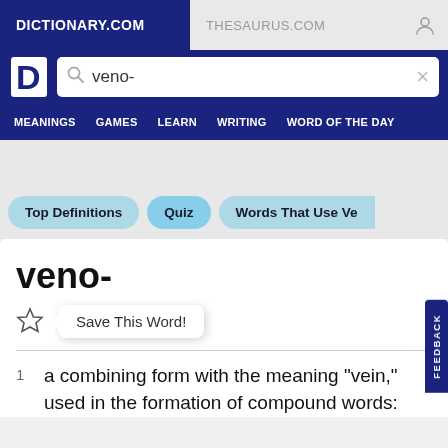DICTIONARY.COM
THESAURUS.COM
veno-
MEANINGS   GAMES   LEARN   WRITING   WORD OF THE DAY
Top Definitions   Quiz   Words That Use Ve
veno-
Save This Word!
1  a combining form with the meaning "vein," used in the formation of compound words: